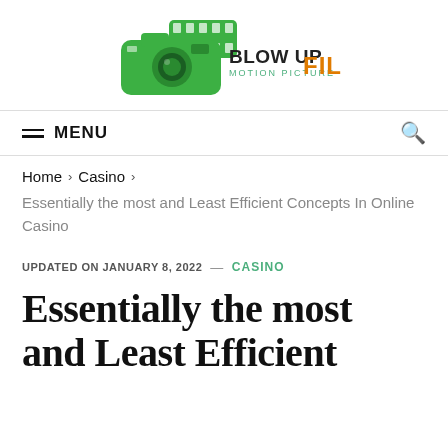[Figure (logo): Blow Up Motion Picture Film logo with green camera icon and film strip, text 'BLOW UP MOTION PICTURE FILM' where BLOW UP is dark and FILM is orange]
≡ MENU
Home › Casino ›
Essentially the most and Least Efficient Concepts In Online Casino
UPDATED ON JANUARY 8, 2022 — CASINO
Essentially the most and Least Effici...